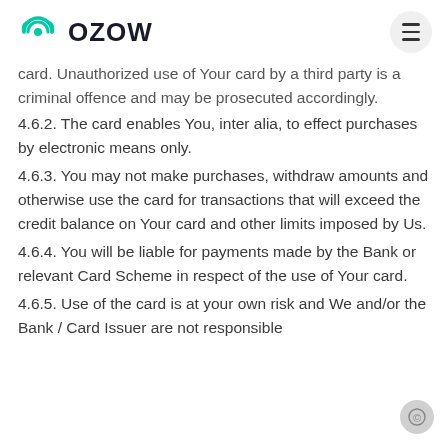OZOW
card. Unauthorized use of Your card by a third party is a criminal offence and may be prosecuted accordingly.
4.6.2. The card enables You, inter alia, to effect purchases by electronic means only.
4.6.3. You may not make purchases, withdraw amounts and otherwise use the card for transactions that will exceed the credit balance on Your card and other limits imposed by Us.
4.6.4. You will be liable for payments made by the Bank or relevant Card Scheme in respect of the use of Your card.
4.6.5. Use of the card is at your own risk and We and/or the Bank / Card Issuer are not responsible